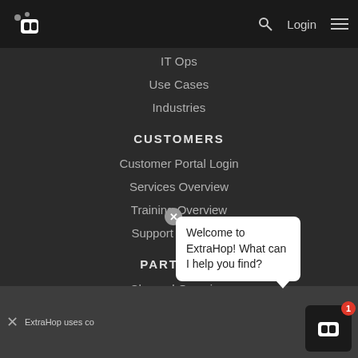[Figure (logo): ExtraHop logo in white on dark nav bar]
IT Ops
Use Cases
Industries
CUSTOMERS
Customer Portal Login
Services Overview
Training Overview
Support Overview
PARTNERS
Channel Overview
Technology Integration Partners
Partner Program Information
BLOG
Welcome to ExtraHop! What can I help you find?
ExtraHop uses co...